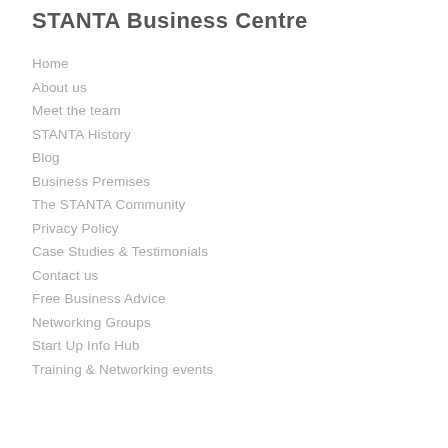STANTA Business Centre
Home
About us
Meet the team
STANTA History
Blog
Business Premises
The STANTA Community
Privacy Policy
Case Studies & Testimonials
Contact us
Free Business Advice
Networking Groups
Start Up Info Hub
Training & Networking events